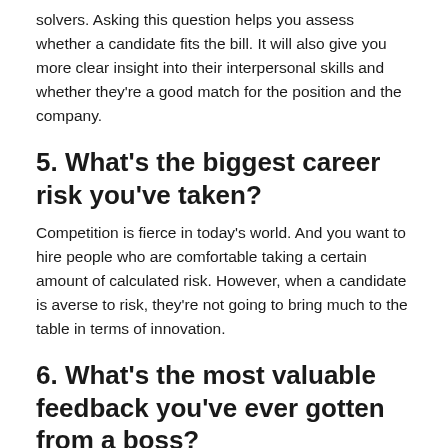solvers. Asking this question helps you assess whether a candidate fits the bill. It will also give you more clear insight into their interpersonal skills and whether they're a good match for the position and the company.
5. What's the biggest career risk you've taken?
Competition is fierce in today's world. And you want to hire people who are comfortable taking a certain amount of calculated risk. However, when a candidate is averse to risk, they're not going to bring much to the table in terms of innovation.
6. What's the most valuable feedback you've ever gotten from a boss?
There are multiple reasons for asking this question. First,